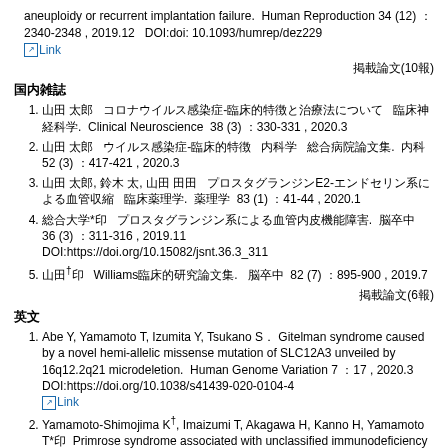aneuploidy or recurrent implantation failure. Human Reproduction 34 (12) ：2340-2348 , 2019.12 DOI:doi: 10.1093/humrep/dez229 Link
掲載論文(10報)
国内雑誌
1. 山田 太郎 コロナウイルス感染症-臨床的特徴と治療法について 臨床神経科学. Clinical Neuroscience 38 (3) ：330-331 , 2020.3
2. 山田 太郎 ウイルス感染症-臨床的特徴 内科学 総合病院論文集. 内科 52 (3) ：417-421 , 2020.3
3. 山田 太郎, 鈴木 太, 山田 田田 プロスタグランジンE2-エンドセリン系による血管収縮 臨床薬理学. 薬理学 83 (1) ：41-44 , 2020.1
4. 総合大学*印 プロスタグランジン系による血管内皮機能障害. 脳卒中 36 (3) ：311-316 , 2019.11 DOI:https://doi.org/10.15082/jsnt.36.3_311
5. 山田†印 Williamsの臨床的研究. 脳卒中 82 (7) ：895-900 , 2019.7
掲載論文(6報)
英文
1. Abe Y, Yamamoto T, Izumita Y, Tsukano S．Gitelman syndrome caused by a novel hemi-allelic missense mutation of SLC12A3 unveiled by 16q12.2q21 microdeletion. Human Genome Variation 7 ：17 , 2020.3 DOI:https://doi.org/10.1038/s41439-020-0104-4 Link
2. Yamamoto-Shimojima K†, Imaizumi T, Akagawa H, Kanno H, Yamamoto T*印 Primrose syndrome associated with unclassified immunodeficiency and a novel ZBTB20 mutation. American Journal of Medical Genetics Part A 182(3) ：521-526 , 2019.11 DOI:10.1002/ajmg.a.61432 Link